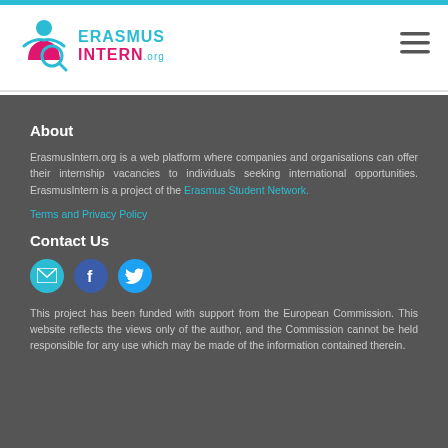[Figure (logo): ErasmusIntern.org logo with cyan figure icon and text]
About
ErasmusIntern.org is a web platform where companies and organisations can offer their internship vacancies to individuals seeking international opportunities. ErasmusIntern is a project of the Erasmus Student Network.
Terms and Privacy Policy
Contact Us
[Figure (illustration): Email, Facebook, and Twitter social icons]
This project has been funded with support from the European Commission. This website reflects the views only of the author, and the Commission cannot be held responsible for any use which may be made of the information contained therein.